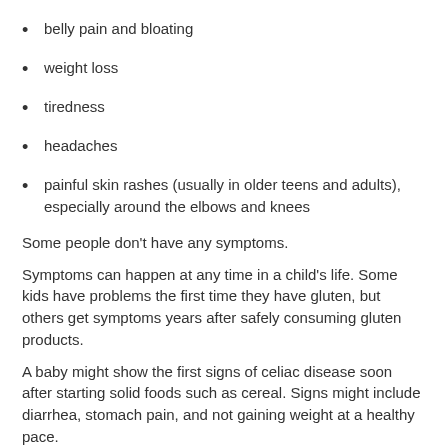belly pain and bloating
weight loss
tiredness
headaches
painful skin rashes (usually in older teens and adults), especially around the elbows and knees
Some people don't have any symptoms.
Symptoms can happen at any time in a child's life. Some kids have problems the first time they have gluten, but others get symptoms years after safely consuming gluten products.
A baby might show the first signs of celiac disease soon after starting solid foods such as cereal. Signs might include diarrhea, stomach pain, and not gaining weight at a healthy pace.